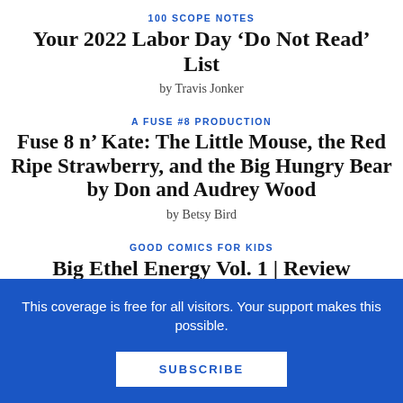100 SCOPE NOTES
Your 2022 Labor Day ‘Do Not Read’ List
by Travis Jonker
A FUSE #8 PRODUCTION
Fuse 8 n’ Kate: The Little Mouse, the Red Ripe Strawberry, and the Big Hungry Bear by Don and Audrey Wood
by Betsy Bird
GOOD COMICS FOR KIDS
Big Ethel Energy Vol. 1 | Review
This coverage is free for all visitors. Your support makes this possible.
SUBSCRIBE